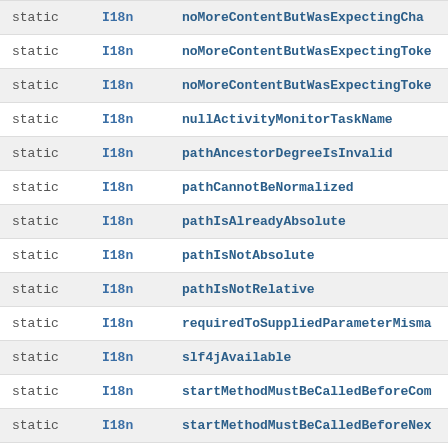| Modifier | Type | Field |
| --- | --- | --- |
| static | I18n | noMoreContentButWasExpectingCha… |
| static | I18n | noMoreContentButWasExpectingToke… |
| static | I18n | noMoreContentButWasExpectingToke… |
| static | I18n | nullActivityMonitorTaskName |
| static | I18n | pathAncestorDegreeIsInvalid |
| static | I18n | pathCannotBeNormalized |
| static | I18n | pathIsAlreadyAbsolute |
| static | I18n | pathIsNotAbsolute |
| static | I18n | pathIsNotRelative |
| static | I18n | requiredToSuppliedParameterMisma… |
| static | I18n | slf4jAvailable |
| static | I18n | startMethodMustBeCalledBeforeCom… |
| static | I18n | startMethodMustBeCalledBeforeNex… |
| static | I18n | unableToAccessResourceFileFromCl… |
| static | I18n | unexpectedCharacter |